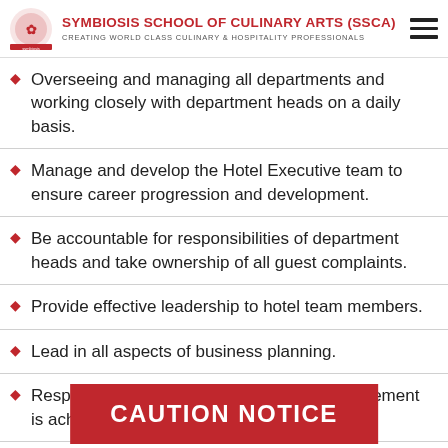SYMBIOSIS SCHOOL OF CULINARY ARTS (SSCA) — CREATING WORLD CLASS CULINARY & HOSPITALITY PROFESSIONALS
Overseeing and managing all departments and working closely with department heads on a daily basis.
Manage and develop the Hotel Executive team to ensure career progression and development.
Be accountable for responsibilities of department heads and take ownership of all guest complaints.
Provide effective leadership to hotel team members.
Lead in all aspects of business planning.
Respond to audits to ensure continual improvement is achieved.
Corporate client handling and new client acquisition along with...
CAUTION NOTICE